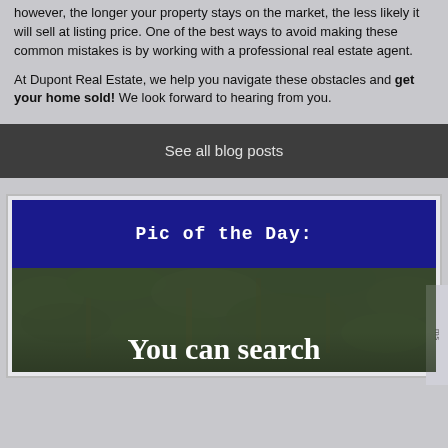however, the longer your property stays on the market, the less likely it will sell at listing price. One of the best ways to avoid making these common mistakes is by working with a professional real estate agent.
At Dupont Real Estate, we help you navigate these obstacles and get your home sold! We look forward to hearing from you.
See all blog posts
Pic of the Day:
[Figure (photo): Dark outdoor photo with foliage/leaves background. White text overlay reads 'You can search']